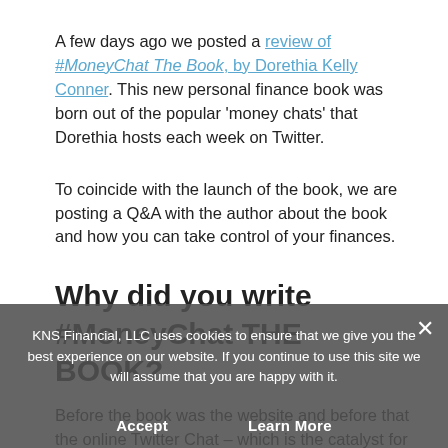A few days ago we posted a review of #MoneyChat The Book, by Dorethia Kelly Conner. This new personal finance book was born out of the popular 'money chats' that Dorethia hosts each week on Twitter.
To coincide with the launch of the book, we are posting a Q&A with the author about the book and how you can take control of your finances.
Why did you write #MoneyChat THE BOOK?
Before the book was the website and before that the online Twitter Chat – which is the catalyst for the #MoneyChat movement. It is a way to take a conversation that can often be shameful
KNS Financial, LLC uses cookies to ensure that we give you the best experience on our website. If you continue to use this site we will assume that you are happy with it.